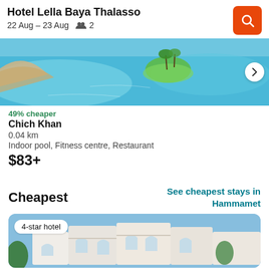Hotel Lella Baya Thalasso
22 Aug – 23 Aug  👥 2
[Figure (photo): Aerial view of a turquoise swimming pool with a small palm-tree island, with a next arrow button on the right]
49% cheaper
Chich Khan
0.04 km
Indoor pool, Fitness centre, Restaurant
$83+
Cheapest
See cheapest stays in Hammamet
[Figure (photo): Photo of a white Mediterranean-style hotel with arched architecture and blue sky, with a '4-star hotel' badge overlay]